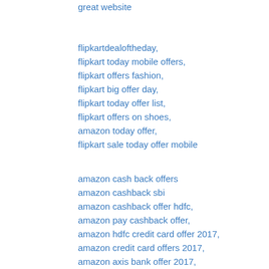great website
flipkartdealoftheday,
flipkart today mobile offers,
flipkart offers fashion,
flipkart big offer day,
flipkart today offer list,
flipkart offers on shoes,
amazon today offer,
flipkart sale today offer mobile
amazon cash back offers
amazon cashback sbi
amazon cashback offer hdfc,
amazon pay cashback offer,
amazon hdfc credit card offer 2017,
amazon credit card offers 2017,
amazon axis bank offer 2017,
amazon cashback not received,
credit card offers on flipkart
Amazon Cashback Offers December 2017 Upto 65% Cashback Deals Amazon cashback offers with sbi hdfc icici